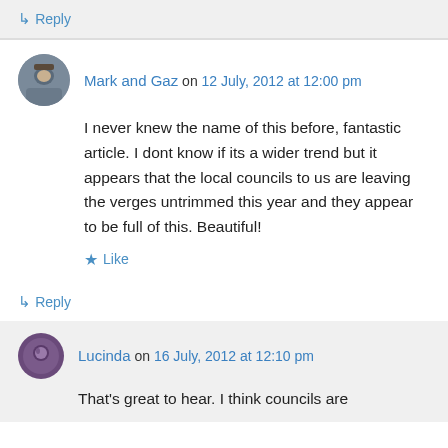↳ Reply
Mark and Gaz on 12 July, 2012 at 12:00 pm
I never knew the name of this before, fantastic article. I dont know if its a wider trend but it appears that the local councils to us are leaving the verges untrimmed this year and they appear to be full of this. Beautiful!
Like
↳ Reply
Lucinda on 16 July, 2012 at 12:10 pm
That's great to hear. I think councils are